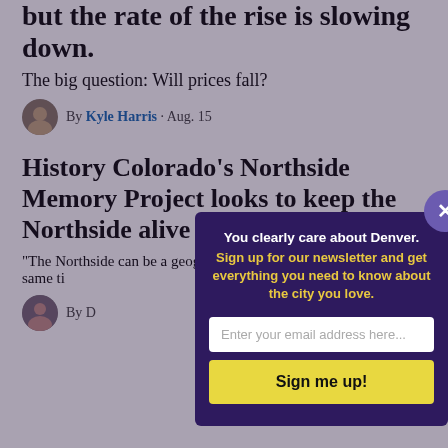but the rate of the rise is slowing down.
The big question: Will prices fall?
By Kyle Harris · Aug. 15
History Colorado's Northside Memory Project looks to keep the Northside alive
"The Northside can be a geographic thing but at the same time...
By D...
[Figure (screenshot): Newsletter signup modal overlay with dark purple background. Header: 'You clearly care about Denver.' Subtext in yellow: 'Sign up for our newsletter and get everything you need to know about the city you love.' Email input field and 'Sign me up!' button. Close X button in top right corner.]